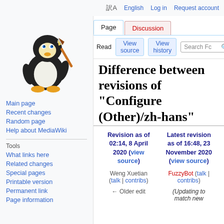A English  Log in  Request account
[Figure (logo): Linux mascot Tux the penguin holding a paintbrush, MediaWiki logo variant]
Main page
Recent changes
Random page
Help about MediaWiki
Tools
What links here
Related changes
Special pages
Printable version
Permanent link
Page information
Difference between revisions of "Configure (Other)/zh-hans"
| Revision as of 02:14, 8 April 2020 (view source) | Latest revision as of 16:48, 23 November 2020 (view source) |
| --- | --- |
| Weng Xuetian (talk | contribs) | FuzzyBot (talk | contribs) |
| ← Older edit | (Updating to match new |